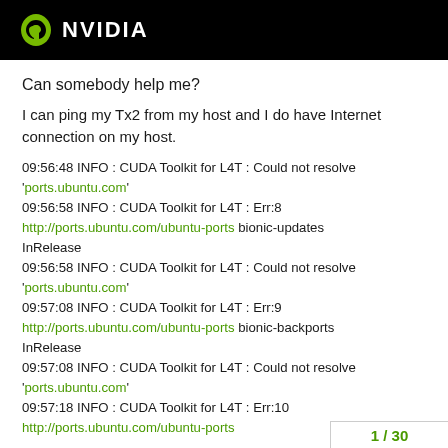NVIDIA
Can somebody help me?
I can ping my Tx2 from my host and I do have Internet connection on my host.
09:56:48 INFO : CUDA Toolkit for L4T : Could not resolve 'ports.ubuntu.com'
09:56:58 INFO : CUDA Toolkit for L4T : Err:8
http://ports.ubuntu.com/ubuntu-ports bionic-updates InRelease
09:56:58 INFO : CUDA Toolkit for L4T : Could not resolve 'ports.ubuntu.com'
09:57:08 INFO : CUDA Toolkit for L4T : Err:9
http://ports.ubuntu.com/ubuntu-ports bionic-backports InRelease
09:57:08 INFO : CUDA Toolkit for L4T : Could not resolve 'ports.ubuntu.com'
09:57:18 INFO : CUDA Toolkit for L4T : Err:10
http://ports.ubuntu.com/ubuntu-ports
1 / 30